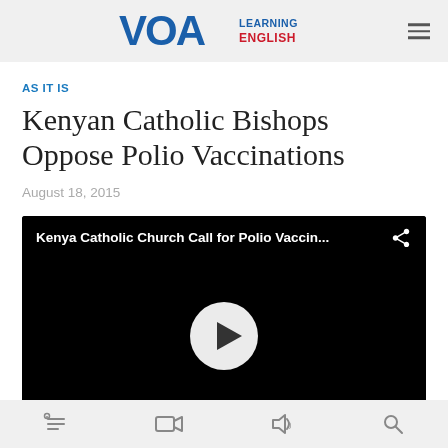VOA LEARNING ENGLISH
AS IT IS
Kenyan Catholic Bishops Oppose Polio Vaccinations
August 18, 2015
[Figure (screenshot): Video player with title 'Kenya Catholic Church Call for Polio Vaccin...' and a play button centered on a black background]
Bottom navigation bar with reading, video, audio, and search icons